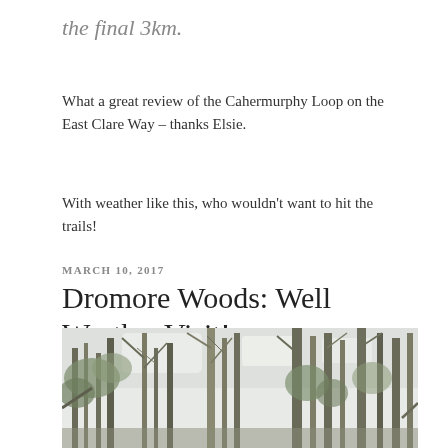the final 3km.
What a great review of the Cahermurphy Loop on the East Clare Way – thanks Elsie.
With weather like this, who wouldn't want to hit the trails!
MARCH 10, 2017
Dromore Woods: Well Worth a Visit!
[Figure (photo): Photograph of bare winter trees and ivy-covered trunks in Dromore Woods, taken looking upward with pale sky visible through the branches.]